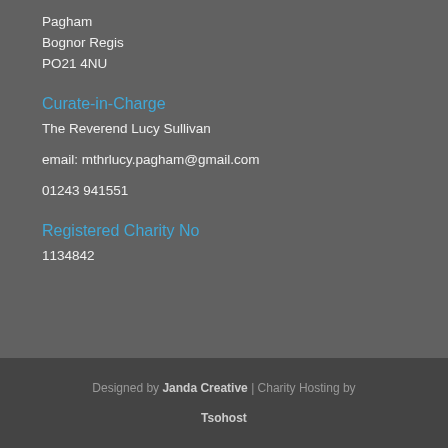Pagham
Bognor Regis
PO21 4NU
Curate-in-Charge
The Reverend Lucy Sullivan
email: mthrlucy.pagham@gmail.com
01243 941551
Registered Charity No
1134842
Designed by Janda Creative | Charity Hosting by Tsohost